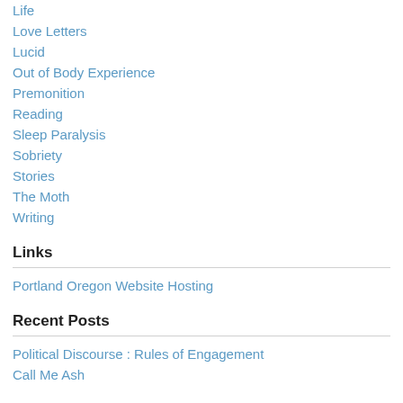Life
Love Letters
Lucid
Out of Body Experience
Premonition
Reading
Sleep Paralysis
Sobriety
Stories
The Moth
Writing
Links
Portland Oregon Website Hosting
Recent Posts
Political Discourse : Rules of Engagement
Call Me Ash